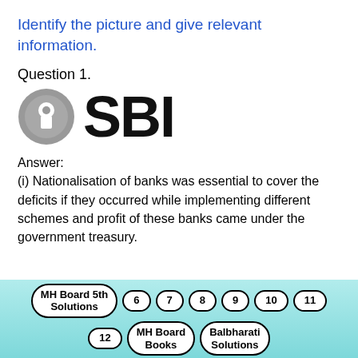Identify the picture and give relevant information.
Question 1.
[Figure (logo): SBI (State Bank of India) logo — circular grey keyhole icon on the left, bold black text 'SBI' on the right]
Answer:
(i) Nationalisation of banks was essential to cover the deficits if they occurred while implementing different schemes and profit of these banks came under the government treasury.
MH Board 5th Solutions  6  7  8  9  10  11  12  MH Board Books  Balbharati Solutions